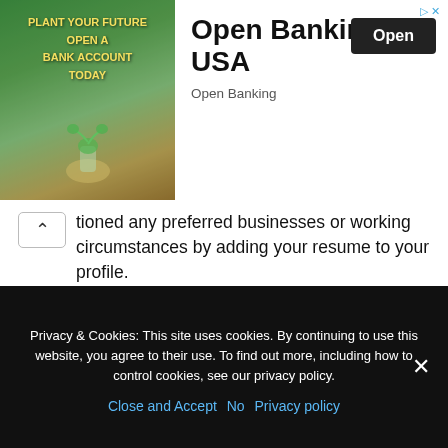[Figure (illustration): Advertisement banner for Open Banking USA with an image of a plant growing from coins, text 'PLANT YOUR FUTURE OPEN A BANK ACCOUNT TODAY', title 'Open Banking USA', subtitle 'Open Banking', and an 'Open' button]
tioned any preferred businesses or working circumstances by adding your resume to your profile.
Glassdoor contains a wealth of information and is a wonderful way to gain a sense of a company's culture before applying for a job — for that reason alone, we recommend that everyone use it in their job search. However, keep in mind that it's a busy website with a user interface that isn't the clearest or simplest to use, so new
Privacy & Cookies: This site uses cookies. By continuing to use this website, you agree to their use. To find out more, including how to control cookies, see our privacy policy.
Close and Accept   No   Privacy policy